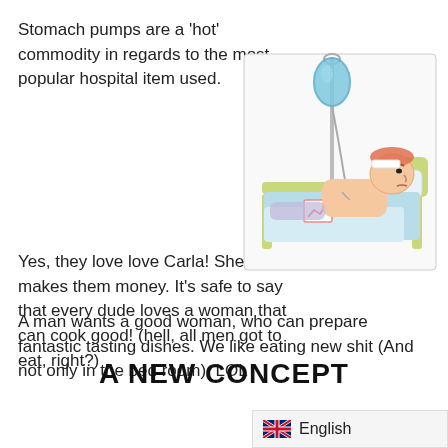Stomach pumps are a 'hot' commodity in regards to the most popular hospital item used.
[Figure (illustration): Cartoon illustration of a sick man lying in a hospital bed with an IV drip, looking unwell.]
Yes, they love love Carla! She makes them money. It's safe to say that every dude loves a woman that can cook good! (hell, all men got to eat, right?)
A man wants a good woman, who can prepare fantastic tasting dishes. We like eating new shit (And not only in the bed room). LOL
A NEW CONCEPT
English